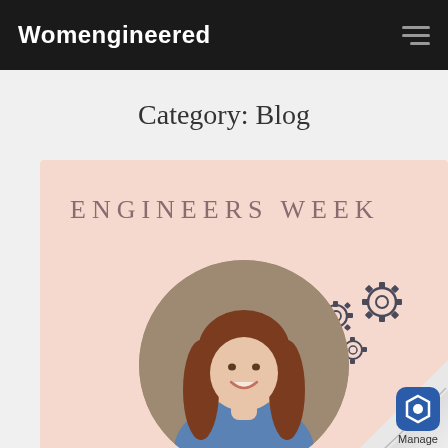Womengineered
Category: Blog
[Figure (illustration): Engineers Week promotional image with pink background, text 'ENGINEERS WEEK', circular photo of a young woman with red hair smiling, and gear icons overlay. Bottom right shows a page curl with a Manage app badge.]